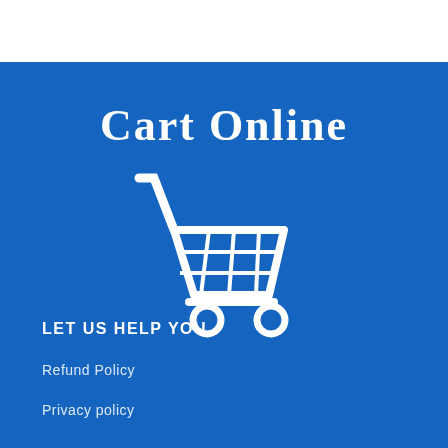Cart Online
[Figure (illustration): White shopping cart icon on blue background]
LET US HELP YOU
Refund Policy
Privacy policy